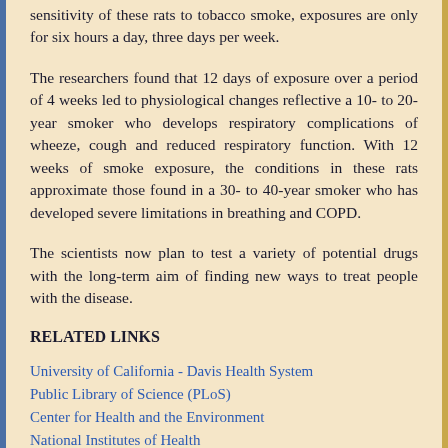sensitivity of these rats to tobacco smoke, exposures are only for six hours a day, three days per week.
The researchers found that 12 days of exposure over a period of 4 weeks led to physiological changes reflective a 10- to 20-year smoker who develops respiratory complications of wheeze, cough and reduced respiratory function. With 12 weeks of smoke exposure, the conditions in these rats approximate those found in a 30- to 40-year smoker who has developed severe limitations in breathing and COPD.
The scientists now plan to test a variety of potential drugs with the long-term aim of finding new ways to treat people with the disease.
RELATED LINKS
University of California - Davis Health System
Public Library of Science (PLoS)
Center for Health and the Environment
National Institutes of Health
Tobacco-Related Disease Research Program